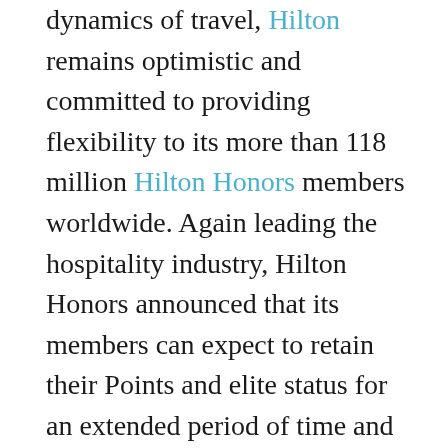dynamics of travel, Hilton remains optimistic and committed to providing flexibility to its more than 118 million Hilton Honors members worldwide. Again leading the hospitality industry, Hilton Honors announced that its members can expect to retain their Points and elite status for an extended period of time and earn status more easily in 2022.